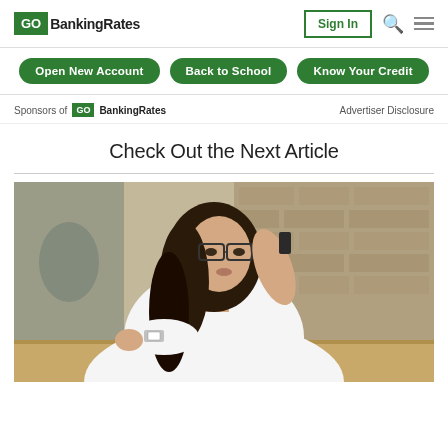GO BankingRates | Sign In
Open New Account | Back to School | Know Your Credit
Sponsors of GO BankingRates    Advertiser Disclosure
Check Out the Next Article
[Figure (photo): Woman in white shirt wearing glasses and a watch, talking on a phone, leaning on a table with a brick wall background]